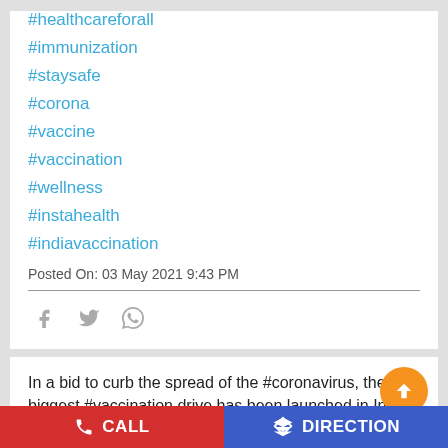#healthcareforall
#immunization
#staysafe
#corona
#vaccine
#vaccination
#wellness
#instahealth
#indiavaccination
Posted On: 03 May 2021 9:43 PM
[Figure (other): Social share icons: Facebook, Twitter, WhatsApp]
In a bid to curb the spread of the #coronavirus, the biggest #vaccination drive has been launched in India. As of now, India has granted emergency
CALL   DIRECTION